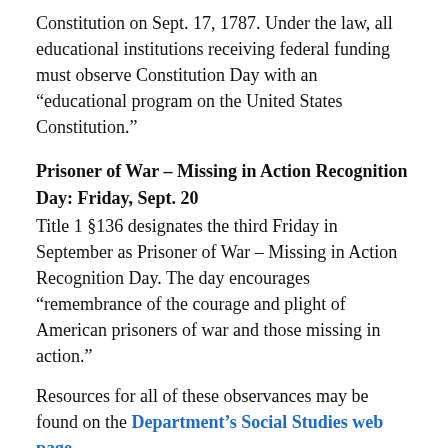Constitution on Sept. 17, 1787. Under the law, all educational institutions receiving federal funding must observe Constitution Day with an “educational program on the United States Constitution.”
Prisoner of War – Missing in Action Recognition Day: Friday, Sept. 20
Title 1 §136 designates the third Friday in September as Prisoner of War – Missing in Action Recognition Day. The day encourages “remembrance of the courage and plight of American prisoners of war and those missing in action.”
Resources for all of these observances may be found on the Department’s Social Studies web page.
More information